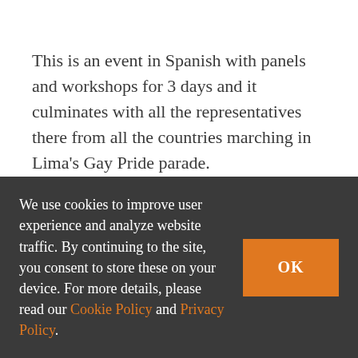This is an event in Spanish with panels and workshops for 3 days and it culminates with all the representatives there from all the countries marching in Lima's Gay Pride parade.
For me three years ago that was the most exciting thing (other than the birth of my children) that I have ever
We use cookies to improve user experience and analyze website traffic. By continuing to the site, you consent to store these on your device. For more details, please read our Cookie Policy and Privacy Policy.